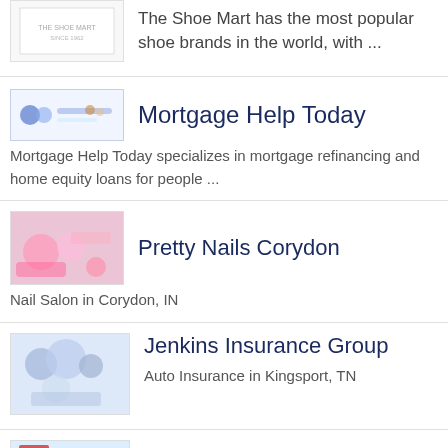The Shoe Mart has the most popular shoe brands in the world, with ...
Mortgage Help Today
Mortgage Help Today specializes in mortgage refinancing and home equity loans for people ...
Pretty Nails Corydon
Nail Salon in Corydon, IN
Jenkins Insurance Group
Auto Insurance in Kingsport, TN
Propet Australia
Super bendable abounding atom leather. Ultralite with affluence of velcro adjustability. Super